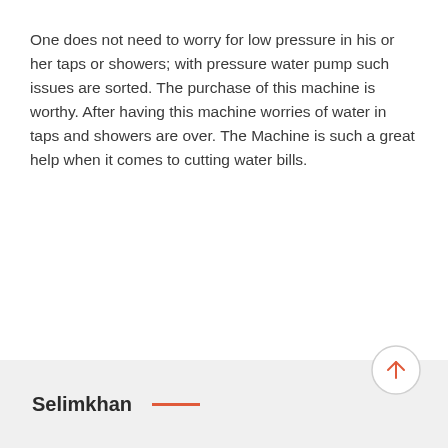One does not need to worry for low pressure in his or her taps or showers; with pressure water pump such issues are sorted. The purchase of this machine is worthy. After having this machine worries of water in taps and showers are over. The Machine is such a great help when it comes to cutting water bills.
Selimkhan —